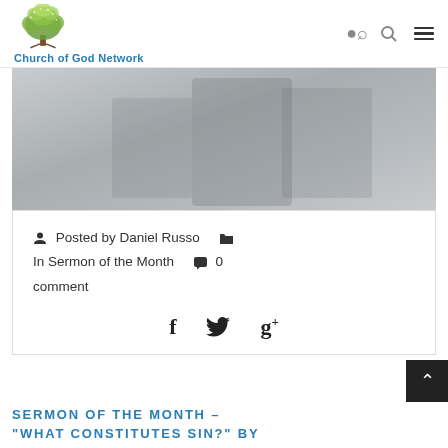Church of God Network
[Figure (photo): A hero/banner image showing a faded background, appears to be a dark atmospheric image used as a page banner.]
Posted by Daniel Russo   In Sermon of the Month   0 comment
[Figure (infographic): Social share icons: Facebook (f), Twitter bird, Google+ (g+)]
SERMON OF THE MONTH – "WHAT CONSTITUTES SIN?" BY